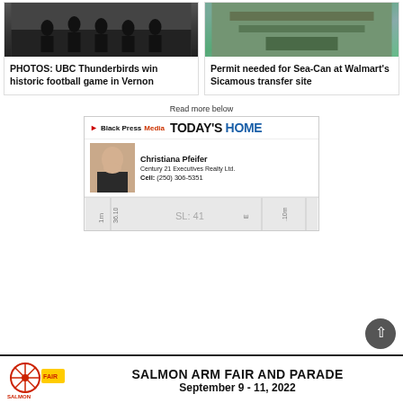[Figure (photo): Photo of UBC Thunderbirds football players on field at night]
PHOTOS: UBC Thunderbirds win historic football game in Vernon
[Figure (photo): Aerial satellite/map view of Walmart Sicamous transfer site]
Permit needed for Sea-Can at Walmart's Sicamous transfer site
Read more below
[Figure (infographic): Black Press Media Today's Home advertisement featuring Christiana Pfeifer, Century 21 Executives Realty Ltd., Cell: (250) 306-5351, with property image showing SL: 41]
[Figure (infographic): Salmon Arm Fair and Parade banner advertisement, September 9-11, 2022]